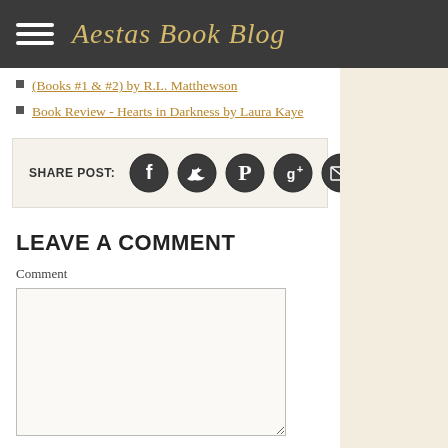Aestas Book Blog
(Books #1 & #2) by R.L. Matthewson
Book Review - Hearts in Darkness by Laura Kaye
[Figure (infographic): Share post social media buttons: Facebook, Twitter, Pinterest, Google+, Email]
LEAVE A COMMENT
Comment
Name *